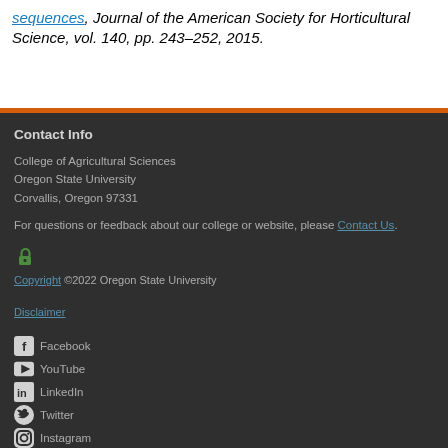Horticultural Science, vol. 140, pp. 243–252, 2015.
Contact Info
College of Agricultural Sciences
Oregon State University
Corvallis, Oregon 97331
For questions or feedback about our college or website, please Contact Us.
Copyright ©2022 Oregon State University
Disclaimer
Facebook
YouTube
LinkedIn
Twitter
Instagram